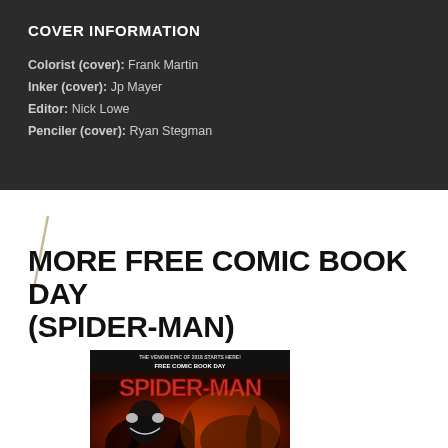COVER INFORMATION
Colorist (cover): Frank Martin
Inker (cover): Jp Mayer
Editor: Nick Lowe
Penciler (cover): Ryan Stegman
MORE FREE COMIC BOOK DAY (SPIDER-MAN)
[Figure (illustration): Comic book cover for Free Comic Book Day Spider-Man featuring Spider-Man and Venom characters with red/orange dramatic background. Text reads: THE VENOM EPIC OF 2018 STARTS HERE! FREE COMIC BOOK DAY SPIDER-MAN]